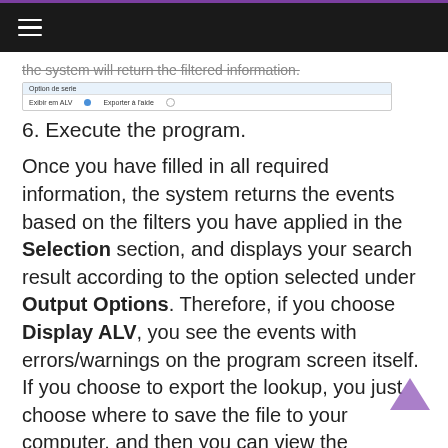≡
the system will return the filtered information.
[Figure (screenshot): A screenshot of a dialog or form row showing options, with a blue dot indicator and fields labeled 'Option de serie' and 'Exporter à l'aide']
6. Execute the program.
Once you have filled in all required information, the system returns the events based on the filters you have applied in the Selection section, and displays your search result according to the option selected under Output Options. Therefore, if you choose Display ALV, you see the events with errors/warnings on the program screen itself. If you choose to export the lookup, you just choose where to save the file to your computer, and then you can view the error/warning events directly in that file.
What's next: